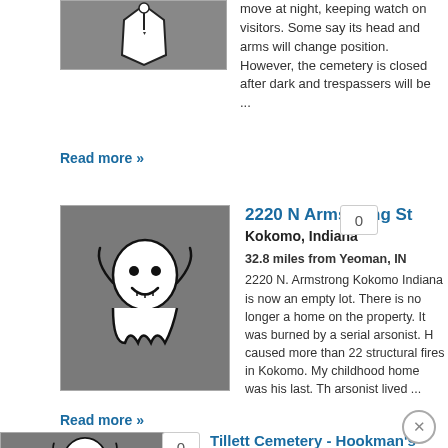move at night, keeping watch on visitors. Some say its head and arms will change position. However, the cemetery is closed after dark and trespassers will be ...
Read more »
[Figure (illustration): Ghost cartoon image on grey background — entry 2 thumbnail]
2220 N Armstrong St
Kokomo, Indiana
32.8 miles from Yeoman, IN
2220 N. Armstrong Kokomo Indiana is now an empty lot. There is no longer a home on the property. It was burned by a serial arsonist. He caused more than 22 structural fires in Kokomo. My childhood home was his last. The arsonist lived ...
Read more »
[Figure (illustration): Ghost cartoon image on grey background — entry 3 thumbnail (partial)]
Tillett Cemetery - Hookman's Cemetery
Peru, Indiana